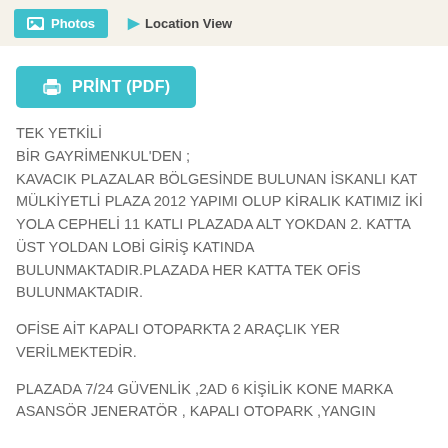Photos  Location View
[Figure (other): PRiNT (PDF) button with printer icon, teal/cyan background]
TEK YETKİLİ
BİR GAYRİMENKUL'DEN ;
KAVACIK PLAZALAR BÖLGESİNDE BULUNAN İSKANLI KAT MÜLKİYETLİ PLAZA 2012 YAPIMI OLUP KİRALIK KATIMIZ İKİ YOLA CEPHELİ 11 KATLI PLAZADA ALT YOKDAN 2. KATTA ÜST YOLDAN LOBİ GİRİŞ KATINDA BULUNMAKTADIR.PLAZADA HER KATTA TEK OFİS BULUNMAKTADIR.
OFİSE AİT KAPALI OTOPARKTA 2 ARAÇLIK YER VERİLMEKTEDİR.
PLAZADA 7/24 GÜVENLİK ,2AD 6 KİŞİLİK KONE MARKA ASANSÖR JENERATÖR , KAPALI OTOPARK ,YANGIN